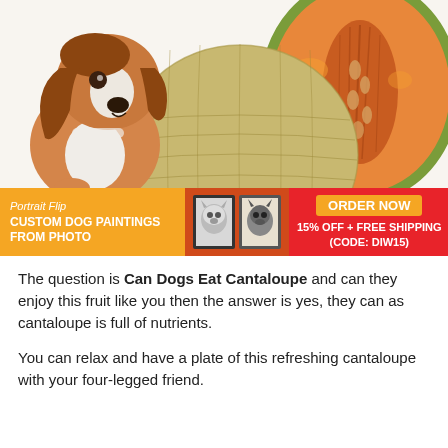[Figure (photo): A beagle dog looking up next to a whole cantaloupe melon and a halved cantaloupe showing the orange interior and seeds, on a white background.]
[Figure (infographic): PortraitFlip advertisement banner. Orange left section with brand name 'Portrait Flip' and text 'CUSTOM DOG PAINTINGS FROM PHOTO'. Middle dark red section showing two framed dog portrait photos. Right red section with 'ORDER NOW' button in orange and text '15% OFF + FREE SHIPPING (CODE: DIW15)'.]
The question is Can Dogs Eat Cantaloupe and can they enjoy this fruit like you then the answer is yes, they can as cantaloupe is full of nutrients.
You can relax and have a plate of this refreshing cantaloupe with your four-legged friend.